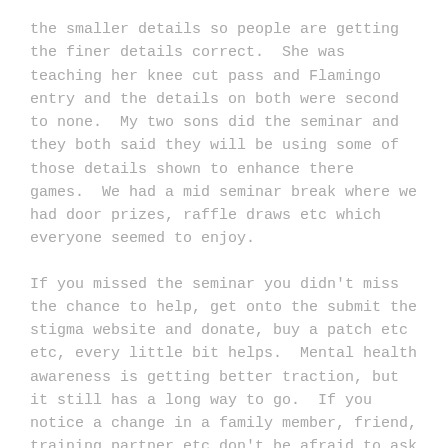the smaller details so people are getting the finer details correct.  She was teaching her knee cut pass and Flamingo entry and the details on both were second to none.  My two sons did the seminar and they both said they will be using some of those details shown to enhance there games.  We had a mid seminar break where we had door prizes, raffle draws etc which everyone seemed to enjoy.
If you missed the seminar you didn't miss the chance to help, get onto the submit the stigma website and donate, buy a patch etc etc, every little bit helps.  Mental health awareness is getting better traction, but it still has a long way to go.  If you notice a change in a family member, friend, training partner etc don't be afraid to ask them if they are ok, we all need to get around each other.
I would like to thank a few people finally.  Hangar 4 MMA thank you so much for donating your gym for us